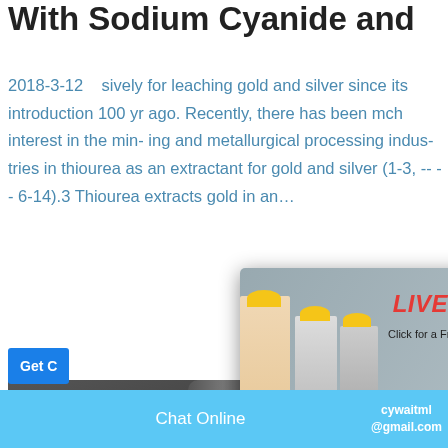With Sodium Cyanide and
2018-3-12   sively for leaching gold and silver since its introduction 100 yr ago. Recently, there has been mch interest in the min- ing and metallurgical processing indus- tries in thiourea as an extractant for gold and silver (1-3, -- -- 6-14).3 Thiourea extracts gold in an…
[Figure (screenshot): Live Chat popup overlay with workers in yellow helmets, red LIVE CHAT text, 'Click for a Free Consultation', Chat now and Chat later buttons]
[Figure (screenshot): Sidebar satisfaction gauge widget with emoji faces and 'Click me to chat >>' button and Enquiry label]
[Figure (photo): Industrial facility interior showing large metal tanks and pipe systems]
Chat Online   cywaitml@gmail.com